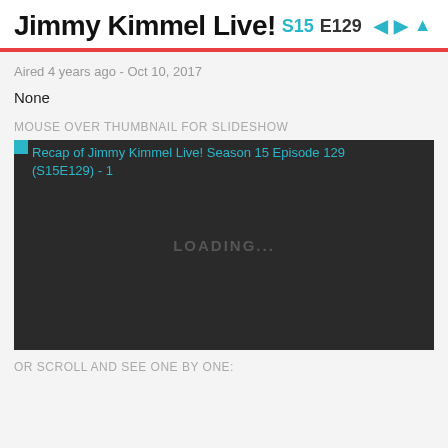Jimmy Kimmel Live! S15 E129
Aired 4 years ago - Oct 10, 2017
None
MOUSE OVER THUMBNAIL FOR SLIDESHOW
[Figure (screenshot): Dark thumbnail image area with a loading indicator showing 'LOADING...' text. The image link text reads 'Recap of Jimmy Kimmel Live! Season 15 Episode 129 (S15E129) - 1']
OR SCROLL AND SEE ONE BY ONE: